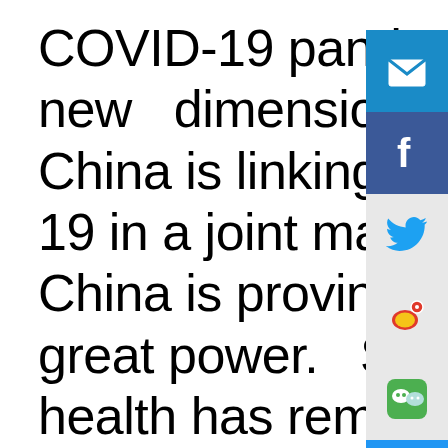COVID-19 pandemic has put a new dimension. Through this, China is linking its efforts to 19 in a joint manner. To prove China is proving itself to be a great power. Since the issue, health has remained important, and in 2015, an important Vision and Actions on Joi
[Figure (other): Social media sharing sidebar with icons: Email (blue), Facebook (dark blue), Twitter (light grey), Weibo (light grey), WeChat (light grey), and scroll-up button (blue)]